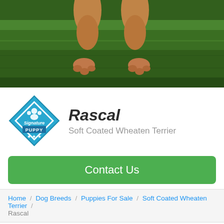[Figure (photo): Close-up of a puppy's paws and legs on green grass, hero banner image at top of page]
[Figure (logo): Blue diamond-shaped Signature Puppy badge/logo with paw print icon]
Rascal
Soft Coated Wheaten Terrier
Contact Us
Home / Dog Breeds / Puppies For Sale / Soft Coated Wheaten Terrier / Rascal
About Rascal
Male
Gender
19 weeks
Age
$2,065
Price